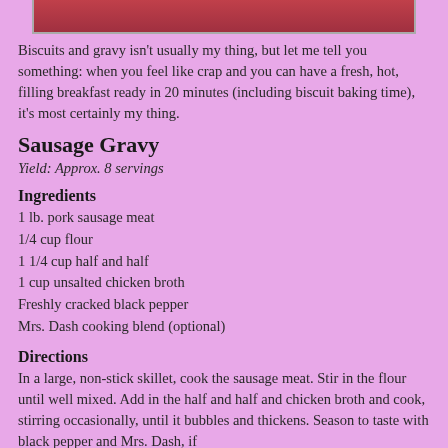[Figure (photo): Bottom portion of a food photo showing biscuits and gravy dish, partially cropped]
Biscuits and gravy isn't usually my thing, but let me tell you something: when you feel like crap and you can have a fresh, hot, filling breakfast ready in 20 minutes (including biscuit baking time), it's most certainly my thing.
Sausage Gravy
Yield: Approx. 8 servings
Ingredients
1 lb. pork sausage meat
1/4 cup flour
1 1/4 cup half and half
1 cup unsalted chicken broth
Freshly cracked black pepper
Mrs. Dash cooking blend (optional)
Directions
In a large, non-stick skillet, cook the sausage meat. Stir in the flour until well mixed. Add in the half and half and chicken broth and cook, stirring occasionally, until it bubbles and thickens. Season to taste with black pepper and Mrs. Dash, if